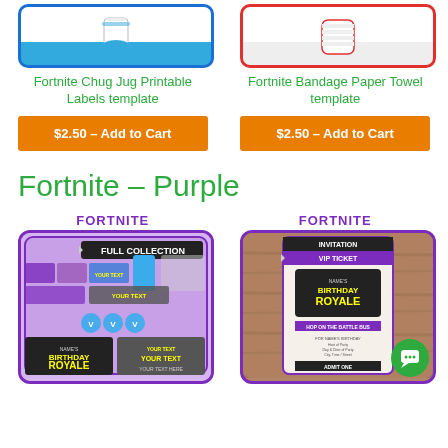[Figure (photo): Fortnite Chug Jug product thumbnail with blue border]
[Figure (photo): Fortnite Bandage Paper Towel product thumbnail with red border]
Fortnite Chug Jug Printable Labels template
Fortnite Bandage Paper Towel template
$2.50 – Add to Cart
$2.50 – Add to Cart
Fortnite – Purple
[Figure (photo): Fortnite purple full collection printable party kit thumbnail]
[Figure (photo): Fortnite purple Birthday Royale VIP ticket invitation thumbnail]